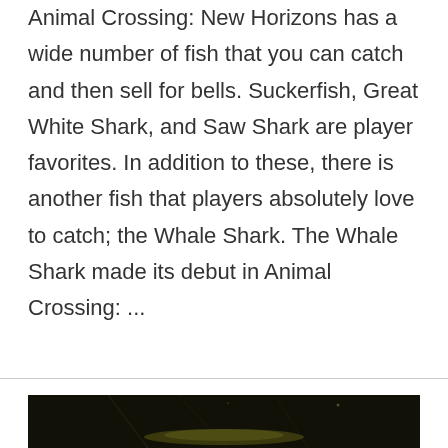Animal Crossing: New Horizons has a wide number of fish that you can catch and then sell for bells. Suckerfish, Great White Shark, and Saw Shark are player favorites. In addition to these, there is another fish that players absolutely love to catch; the Whale Shark. The Whale Shark made its debut in Animal Crossing: ...
Read More »
[Figure (photo): Dark photograph showing what appears to be a fish or marine creature in a dark environment with some light streaks visible]